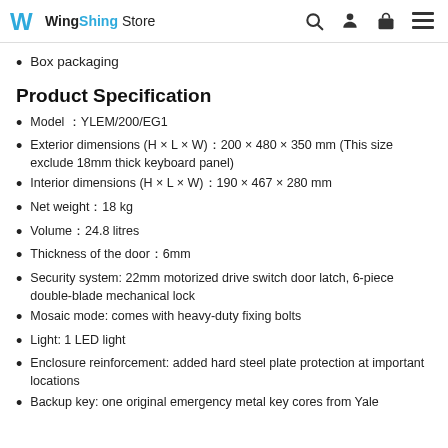WingShing Store
Box packaging
Product Specification
Model ：YLEM/200/EG1
Exterior dimensions (H × L × W)：200 × 480 × 350 mm (This size exclude 18mm thick keyboard panel)
Interior dimensions (H × L × W)：190 × 467 × 280 mm
Net weight：18 kg
Volume：24.8 litres
Thickness of the door：6mm
Security system: 22mm motorized drive switch door latch, 6-piece double-blade mechanical lock
Mosaic mode: comes with heavy-duty fixing bolts
Light: 1 LED light
Enclosure reinforcement: added hard steel plate protection at important locations
Backup key: one original emergency metal key cores from Yale